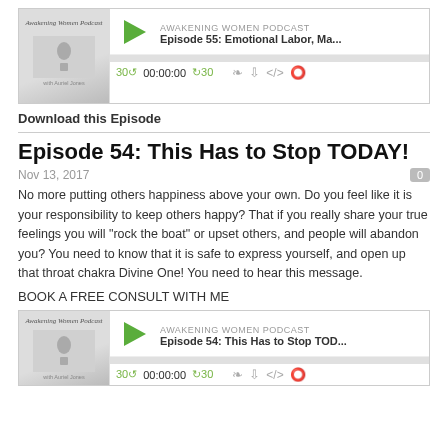[Figure (screenshot): Podcast player widget for Episode 55: Emotional Labor, Ma... - Awakening Women Podcast with thumbnail, play button, progress bar, and controls showing 30s skip, 00:00:00, +30s, and icons]
Download this Episode
Episode 54: This Has to Stop TODAY!
Nov 13, 2017
No more putting others happiness above your own. Do you feel like it is your responsibility to keep others happy? That if you really share your true feelings you will "rock the boat" or upset others, and people will abandon you? You need to know that it is safe to express yourself, and open up that throat chakra Divine One! You need to hear this message.
BOOK A FREE CONSULT WITH ME
[Figure (screenshot): Podcast player widget for Episode 54: This Has to Stop TOD... - Awakening Women Podcast with thumbnail, play button, progress bar, and controls showing 30s skip, 00:00:00, +30s, and icons]